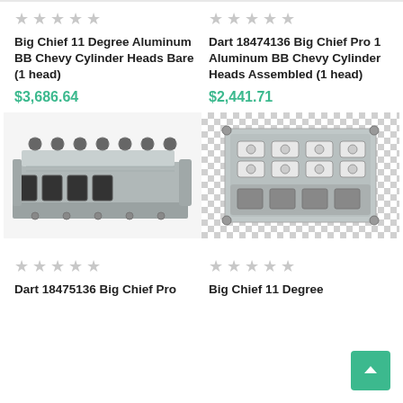★★★★★ (empty) Big Chief 11 Degree Aluminum BB Chevy Cylinder Heads Bare (1 head) $3,686.64
★★★★★ (empty) Dart 18474136 Big Chief Pro 1 Aluminum BB Chevy Cylinder Heads Assembled (1 head) $2,441.71
[Figure (photo): Big Chief 11 Degree Aluminum BB Chevy Cylinder Head - bare aluminum cylinder head viewed from side/top angle showing ports and valve springs]
[Figure (photo): Dart 18474136 Big Chief Pro 1 Aluminum BB Chevy Cylinder Head Assembled - top-down view on checkered background showing rocker arms and components]
★★★★★ (empty) Dart 18475136 Big Chief Pro
★★★★★ (empty) Big Chief 11 Degree